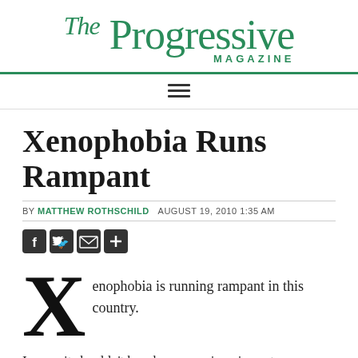[Figure (logo): The Progressive Magazine logo in teal/green color]
Xenophobia Runs Rampant
BY MATTHEW ROTHSCHILD  AUGUST 19, 2010 1:35 AM
[Figure (infographic): Social media sharing icons: Facebook, Twitter, Email, Plus]
Xenophobia is running rampant in this country.
I guess it shouldn't be a huge surprise, since at